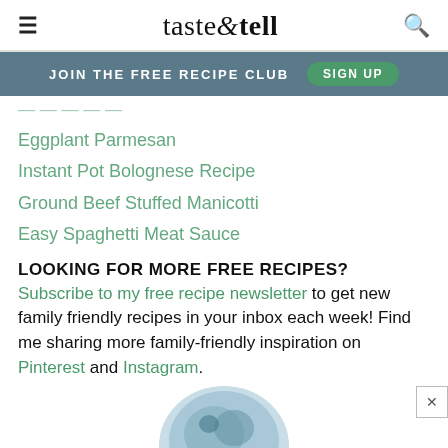taste & tell
JOIN THE FREE RECIPE CLUB   SIGN UP
Eggplant Parmesan
Instant Pot Bolognese Recipe
Ground Beef Stuffed Manicotti
Easy Spaghetti Meat Sauce
LOOKING FOR MORE FREE RECIPES?
Subscribe to my free recipe newsletter to get new family friendly recipes in your inbox each week! Find me sharing more family-friendly inspiration on Pinterest and Instagram.
[Figure (photo): Circular photo of a dish, partially visible at the bottom of the page]